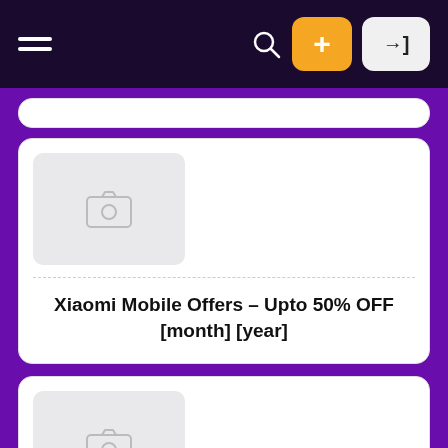Navigation bar with hamburger menu, search icon, plus button, and login button
[Figure (screenshot): Partial white card at top]
[Figure (photo): Image placeholder thumbnail with camera icon]
Xiaomi Mobile Offers – Upto 50% OFF [month] [year]
[Figure (photo): Image placeholder thumbnail with camera icon for second card]
Homepage Opened
mi Coupon Codes, Discounts